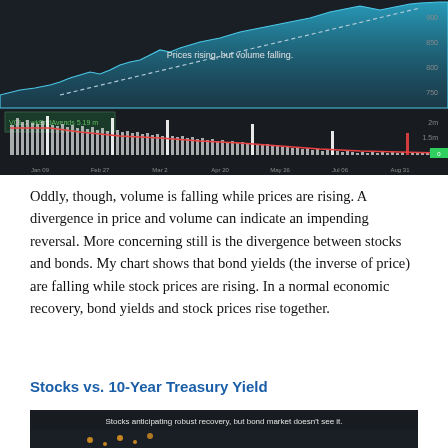[Figure (screenshot): Financial chart showing S&P 500 price rising with volume falling. Upper panel shows price in teal/blue area chart with upward trendline and annotation 'Prices rising, but volume falling.' Lower panel shows volume bars in gray/white with a declining red trendline.]
Oddly, though, volume is falling while prices are rising. A divergence in price and volume can indicate an impending reversal. More concerning still is the divergence between stocks and bonds. My chart shows that bond yields (the inverse of price) are falling while stock prices are rising. In a normal economic recovery, bond yields and stock prices rise together.
Stocks vs. 10-Year Treasury Yield
[Figure (screenshot): Financial chart showing stocks versus 10-Year Treasury Yield with annotation 'Stocks anticipating robust recovery, but bond market doesn't see it.']